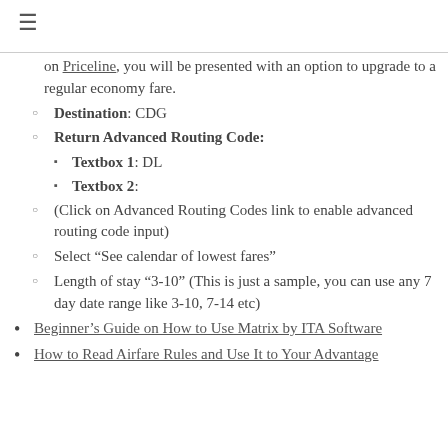on Priceline, you will be presented with an option to upgrade to a regular economy fare.
Destination: CDG
Return Advanced Routing Code:
Textbox 1: DL
Textbox 2:
(Click on Advanced Routing Codes link to enable advanced routing code input)
Select “See calendar of lowest fares”
Length of stay “3-10” (This is just a sample, you can use any 7 day date range like 3-10, 7-14 etc)
Beginner’s Guide on How to Use Matrix by ITA Software
How to Read Airfare Rules and Use It to Your Advantage